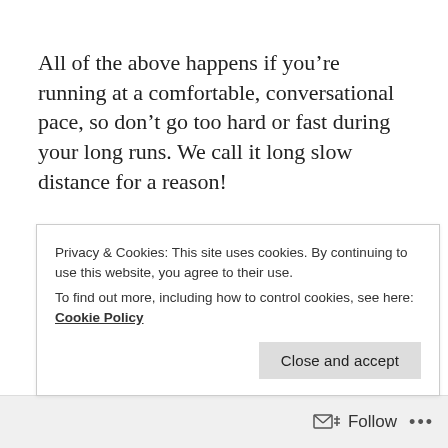All of the above happens if you’re running at a comfortable, conversational pace, so don’t go too hard or fast during your long runs. We call it long slow distance for a reason!
So how can we make going long more comfortable and beneficial? Here are some things to try (yes, you’ve heard some of this before – we need to pound it into
Privacy & Cookies: This site uses cookies. By continuing to use this website, you agree to their use.
To find out more, including how to control cookies, see here: Cookie Policy
Follow ...